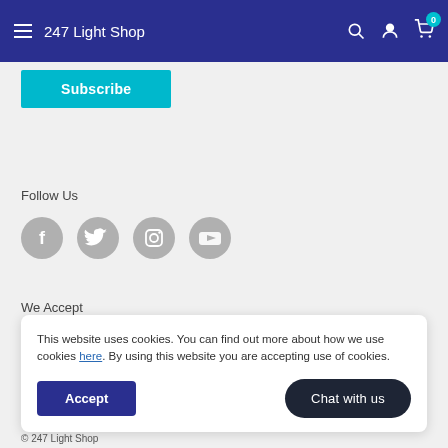247 Light Shop
Subscribe
Follow Us
[Figure (illustration): Social media icons: Facebook, Twitter, Instagram, YouTube]
We Accept
This website uses cookies. You can find out more about how we use cookies here. By using this website you are accepting use of cookies.
Accept
Chat with us
© 247 Light Shop